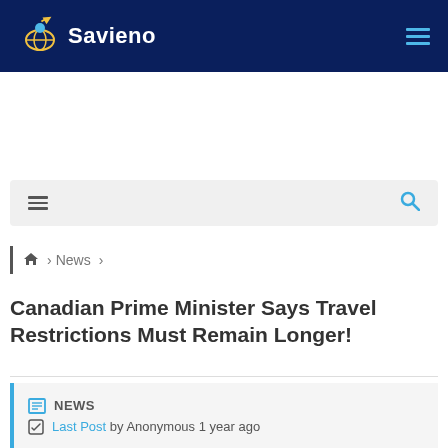Savieno
[Figure (screenshot): Gray search/menu bar with hamburger menu icon on left and search icon on right]
Home > News >
Canadian Prime Minister Says Travel Restrictions Must Remain Longer!
NEWS
Last Post by Anonymous 1 year ago